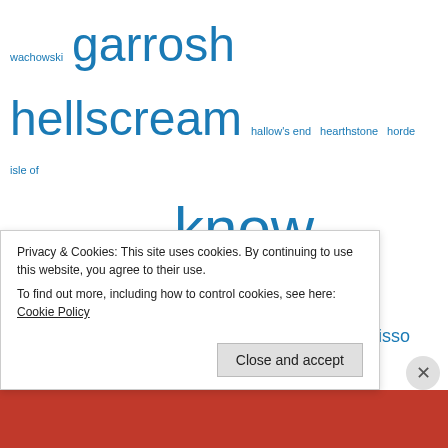wachowski garrosh hellscream hallow's end hearthstone horde isle of thunder jaina proudmoore know your lore legion LFR lisa poisso massively matthew rossi Mists of Pandaria mogu'shan vaults mop mounts New World olivia grace orgrimmar pandaria patch 5.2 patch 5.4 photo op PvP rohan sarah pine scott andrews Shadowlands shared topic siege of orgrimmar sylvanas the old republic the thunder king thrall throne of thunder tinfoil hat tor transmog typhoonandrew varian wrynn vol'jin warcraft warlords warlords of draenor wod world of warcraft
Privacy & Cookies: This site uses cookies. By continuing to use this website, you agree to their use. To find out more, including how to control cookies, see here: Cookie Policy
Close and accept